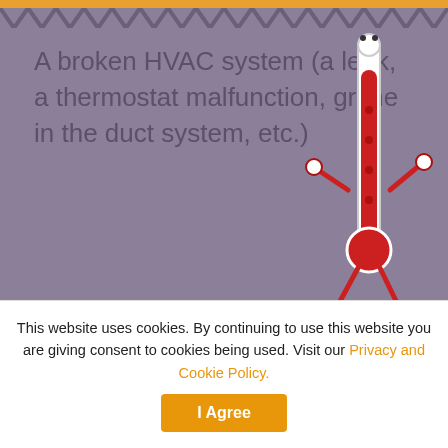[Figure (infographic): Purple background infographic section showing cartoon sweating man, animated thermometer character, zigzag borders, text about broken HVAC system, and bottom dark section with lightning bolt icons and a light bulb illustration]
A broken HVAC system (a leak, a thermostat malfunction, grime in the duct system, etc.)
This is especially problematic for flexible workspace operators running a location in regions where the four seasons are pretty marked. A hot Summer's day or a cold Winter day without AC or heating respectively will be unproductive and uncomfortable for everyone involved.
A general power cut
This website uses cookies. By continuing to use this website you are giving consent to cookies being used. Visit our Privacy and Cookie Policy.